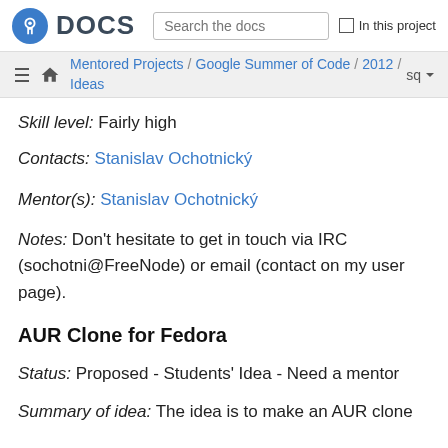Fedora DOCS — Search the docs | In this project
Mentored Projects / Google Summer of Code / 2012 / Ideas   sq
Skill level: Fairly high
Contacts: Stanislav Ochotnický
Mentor(s): Stanislav Ochotnický
Notes: Don't hesitate to get in touch via IRC (sochotni@FreeNode) or email (contact on my user page).
AUR Clone for Fedora
Status: Proposed - Students' Idea - Need a mentor
Summary of idea: The idea is to make an AUR clone